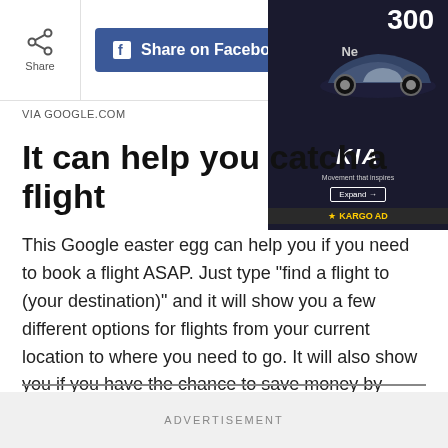Share | Share on Facebook
VIA GOOGLE.COM
It can help you catch a flight
This Google easter egg can help you if you need to book a flight ASAP. Just type "find a flight to (your destination)" and it will show you a few different options for flights from your current location to where you need to go. It will also show you if you have the chance to save money by flying out of a different nearby airport.
ADVERTISEMENT